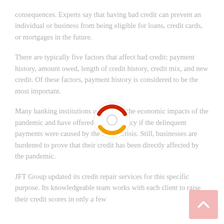consequences. Experts say that having bad credit can prevent an individual or business from being eligible for loans, credit cards, or mortgages in the future.
There are typically five factors that affect bad credit: payment history, amount owed, length of credit history, credit mix, and new credit. Of these factors, payment history is considered to be the most important.
Many banking institutions understand the economic impacts of the pandemic and have offered some leniency if the delinquent payments were caused by the health crisis. Still, businesses are burdened to prove that their credit has been directly affected by the pandemic.
JFT Group updated its credit repair services for this specific purpose. Its knowledgeable team works with each client to raise their credit scores in only a few
[Figure (other): Loading spinner graphic with red arc on top and orange arc on bottom, white/grey circle in center]